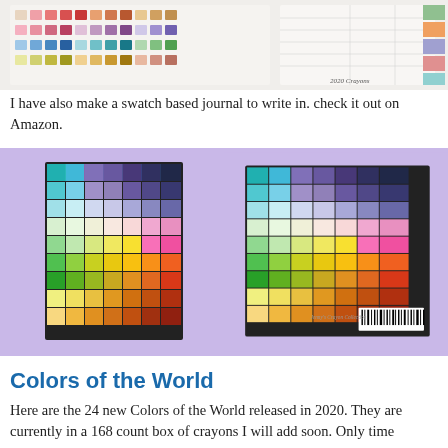[Figure (photo): Crayon swatches chart/journal page with color swatches and text labels, handwritten '2020 Crayons' at bottom right]
I have also make a swatch based journal to write in. check it out on Amazon.
[Figure (photo): Two side-by-side photos of a colorful pixel/swatch patterned journal/book on a purple background. Left shows front cover, right shows back cover with barcode and 'Jenny's Crayon Collection' text.]
Colors of the World
Here are the 24 new Colors of the World released in 2020. They are currently in a 168 count box of crayons I will add soon. Only time